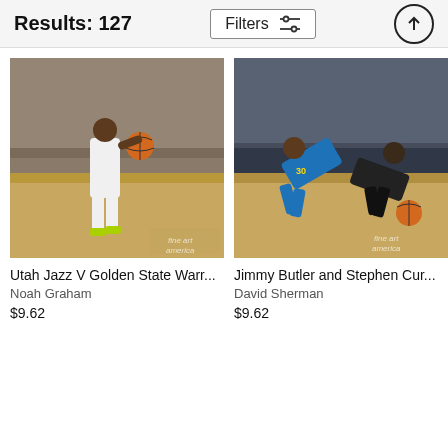Results: 127
Filters
[Figure (photo): NBA basketball photo: Utah Jazz V Golden State Warriors game, player dribbling the ball on court with crowd in background. Fine Art America watermark.]
Utah Jazz V Golden State Warr...
Noah Graham
$9.62
[Figure (photo): NBA basketball photo: Jimmy Butler and Stephen Curry diving for a loose ball on court. Fine Art America watermark.]
Jimmy Butler and Stephen Cur...
David Sherman
$9.62